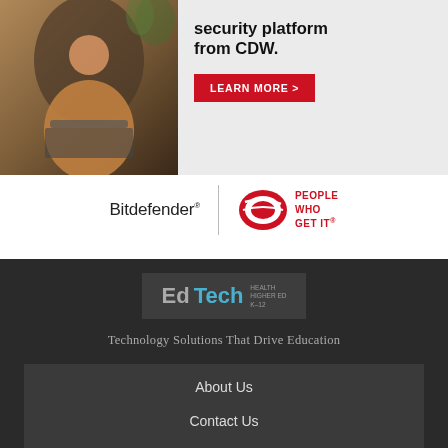[Figure (illustration): Advertisement banner showing a person sitting in a chair working on a laptop, with text 'security platform from CDW.' and a red LEARN MORE button, plus Bitdefender and CDW People Who Get It logos below]
[Figure (logo): EdTech logo in a dark grey box with tagline 'Technology Solutions That Drive Education']
About Us
Contact Us
Privacy
Terms & Conditions
Site Map
VISIT SOME OF OUR OTHER TECHNOLOGY WEBSITES: